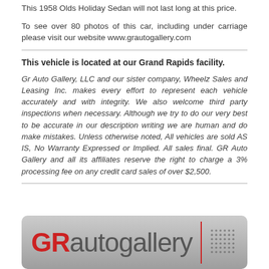This 1958 Olds Holiday Sedan will not last long at this price.
To see over 80 photos of this car, including under carriage please visit our website www.grautogallery.com
This vehicle is located at our Grand Rapids facility.
Gr Auto Gallery, LLC and our sister company, Wheelz Sales and Leasing Inc. makes every effort to represent each vehicle accurately and with integrity. We also welcome third party inspections when necessary. Although we try to do our very best to be accurate in our description writing we are human and do make mistakes. Unless otherwise noted, All vehicles are sold AS IS, No Warranty Expressed or Implied. All sales final. GR Auto Gallery and all its affiliates reserve the right to charge a 3% processing fee on any credit card sales of over $2,500.
[Figure (logo): GR Auto Gallery logo on gray gradient rounded rectangle background with red GR text, gray autogallery text, red vertical divider, and dot grid pattern]